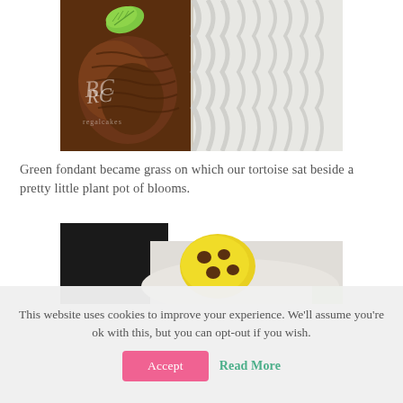[Figure (photo): Close-up photo of a chocolate tortoise cake decoration with a green fondant leaf on top, placed next to white ruffled fondant. A watermark with stylized letters is visible.]
Green fondant became grass on which our tortoise sat beside a pretty little plant pot of blooms.
[Figure (photo): Close-up photo of a yellow fondant tortoise head with brown spots, sitting on a white surface with a dark background.]
This website uses cookies to improve your experience. We'll assume you're ok with this, but you can opt-out if you wish.
Accept
Read More